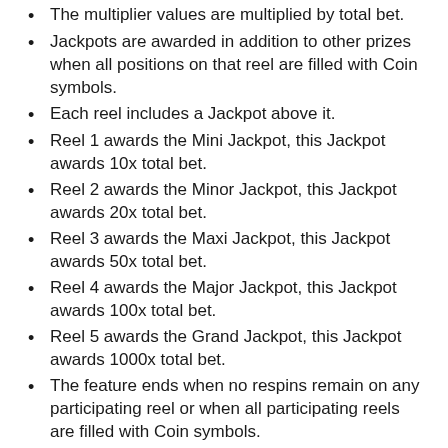The multiplier values are multiplied by total bet.
Jackpots are awarded in addition to other prizes when all positions on that reel are filled with Coin symbols.
Each reel includes a Jackpot above it.
Reel 1 awards the Mini Jackpot, this Jackpot awards 10x total bet.
Reel 2 awards the Minor Jackpot, this Jackpot awards 20x total bet.
Reel 3 awards the Maxi Jackpot, this Jackpot awards 50x total bet.
Reel 4 awards the Major Jackpot, this Jackpot awards 100x total bet.
Reel 5 awards the Grand Jackpot, this Jackpot awards 1000x total bet.
The feature ends when no respins remain on any participating reel or when all participating reels are filled with Coin symbols.
All Coin prizes are awarded at the end of the feature.
Free Spins